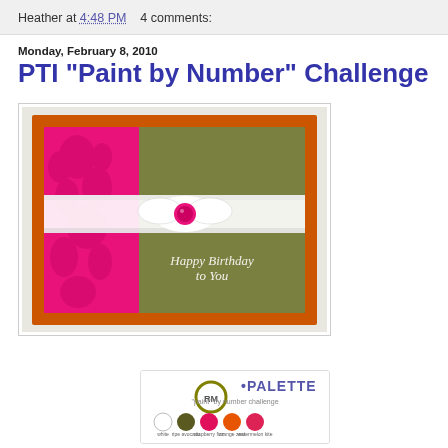Heather at 4:48 PM    4 comments:
Monday, February 8, 2010
PTI "Paint by Number" Challenge
[Figure (photo): Handmade greeting card with orange border, olive green background, hot pink embossed panel on left, white satin ribbon with pink button center, and cursive text reading Happy Birthday to You]
[Figure (logo): PTI Palette paint by number challenge badge showing colored circles: white, olive, raspberry/pink, orange, watermelon/red with color names below and RM PALETTE text]